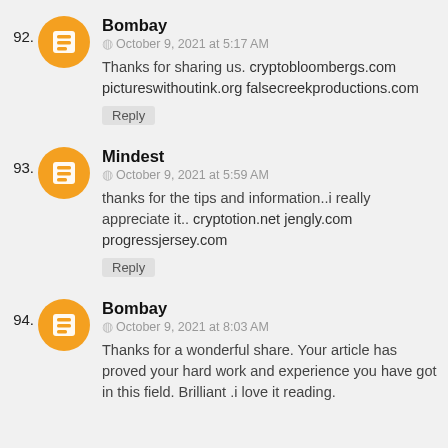92. Bombay — October 9, 2021 at 5:17 AM — Thanks for sharing us. cryptobloombergs.com pictureswithoutink.org falsecreekproductions.com — Reply
93. Mindest — October 9, 2021 at 5:59 AM — thanks for the tips and information..i really appreciate it.. cryptotion.net jengly.com progressjersey.com — Reply
94. Bombay — October 9, 2021 at 8:03 AM — Thanks for a wonderful share. Your article has proved your hard work and experience you have got in this field. Brilliant .i love it reading.